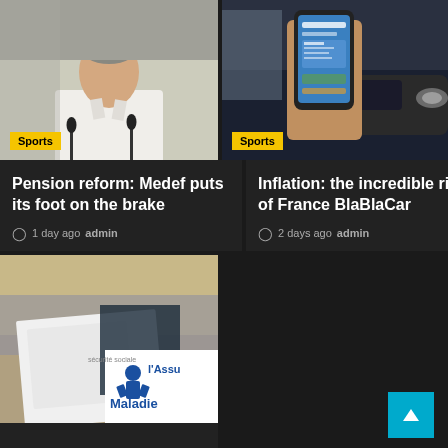[Figure (photo): Man in white shirt speaking at a podium with microphones]
[Figure (photo): Hand holding a smartphone with BlaBlaCar app, car in background]
Pension reform: Medef puts its foot on the brake
1 day ago  admin
Inflation: the incredible rise of France BlaBlaCar
2 days ago  admin
[Figure (photo): People with l'Assurance Maladie sign/banner]